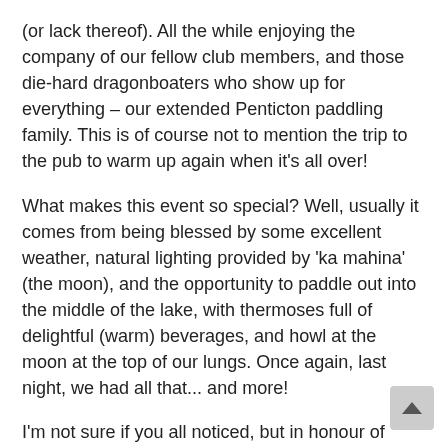(or lack thereof). All the while enjoying the company of our fellow club members, and those die-hard dragonboaters who show up for everything – our extended Penticton paddling family. This is of course not to mention the trip to the pub to warm up again when it's all over!
What makes this event so special? Well, usually it comes from being blessed by some excellent weather, natural lighting provided by 'ka mahina' (the moon), and the opportunity to paddle out into the middle of the lake, with thermoses full of delightful (warm) beverages, and howl at the moon at the top of our lungs. Once again, last night, we had all that... and more!
I'm not sure if you all noticed, but in honour of PRCC's third annual Full Moon Paddle, to celebrate one of our best seasons ever, I pulled some strings at the office and arranged to turn the moon 'PRCC orange' for a couple of hours. I guess sometimes being an